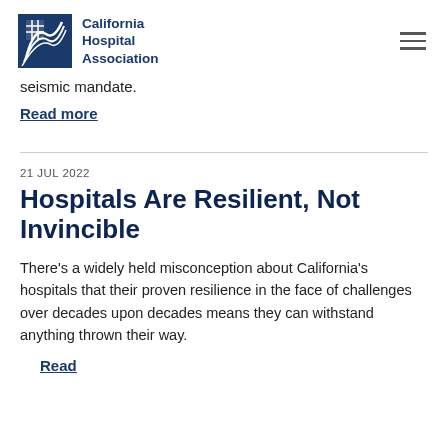California Hospital Association
seismic mandate.
Read more
21 JUL 2022
Hospitals Are Resilient, Not Invincible
There's a widely held misconception about California's hospitals that their proven resilience in the face of challenges over decades upon decades means they can withstand anything thrown their way.
Read more